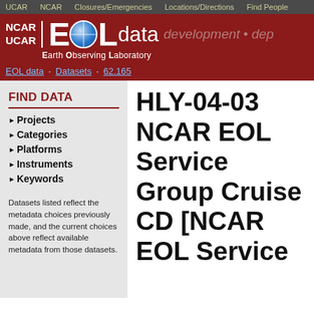UCAR  NCAR  Closures/Emergencies  Locations/Directions  Find People
[Figure (logo): NCAR/UCAR EOL Earth Observing Laboratory logo with globe graphic, red banner background, with 'data development • dep' text]
EOL data · Datasets · 62.165
FIND DATA
Projects
Categories
Platforms
Instruments
Keywords
Datasets listed reflect the metadata choices previously made, and the current choices above reflect available metadata from those datasets.
HLY-04-03 NCAR EOL Service Group Cruise CD [NCAR EOL Service